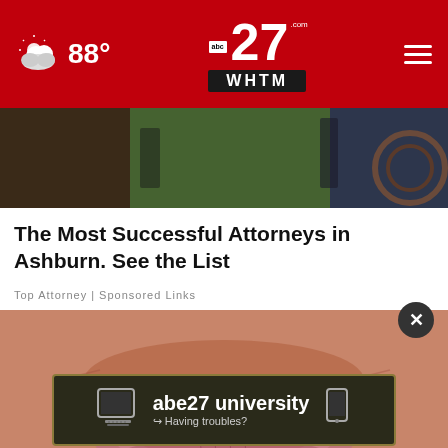abc27 WHTM — 88°
[Figure (screenshot): Partial screenshot of a video/scene with green and dark tones in the background]
The Most Successful Attorneys in Ashburn. See the List
Top Attorney | Sponsored Links
[Figure (photo): Close-up photo of aged human lips, heavily wrinkled, pink skin]
[Figure (screenshot): abc27 university banner ad — Having troubles?]